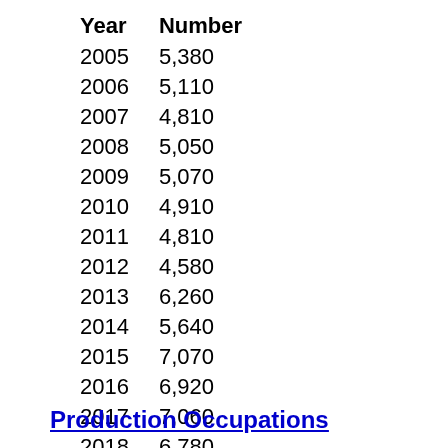| Year | Number |
| --- | --- |
| 2005 | 5,380 |
| 2006 | 5,110 |
| 2007 | 4,810 |
| 2008 | 5,050 |
| 2009 | 5,070 |
| 2010 | 4,910 |
| 2011 | 4,810 |
| 2012 | 4,580 |
| 2013 | 6,260 |
| 2014 | 5,640 |
| 2015 | 7,070 |
| 2016 | 6,920 |
| 2017 | 7,060 |
| 2018 | 6,780 |
| 2019 | 6,850 |
Production Occupations